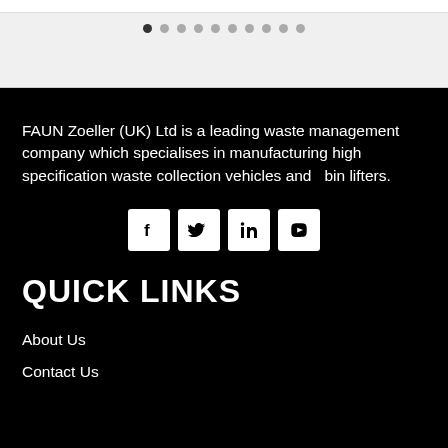[Figure (other): Carousel slider navigation dots — 10 dots with the first one active/dark]
FAUN Zoeller (UK) Ltd is a leading waste management company which specialises in manufacturing high specification waste collection vehicles and bin lifters.
[Figure (other): Social media icon buttons: Facebook, Twitter, LinkedIn, YouTube — white squares on black background]
QUICK LINKS
About Us
Contact Us